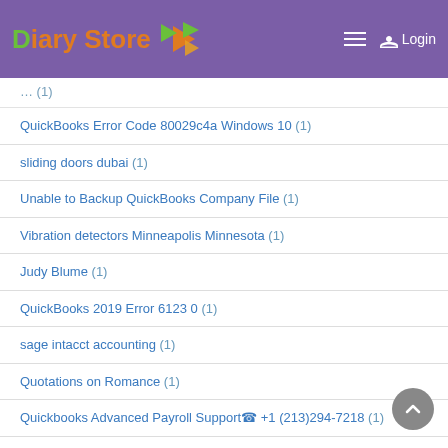Diary Store — Login
QuickBooks Error Code 80029c4a Windows 10 (1)
sliding doors dubai (1)
Unable to Backup QuickBooks Company File (1)
Vibration detectors Minneapolis Minnesota (1)
Judy Blume (1)
QuickBooks 2019 Error 6123 0 (1)
sage intacct accounting (1)
Quotations on Romance (1)
Quickbooks Advanced Payroll Support☎ +1 (213)294-7218 (1)
Quickbooks crashes every time I try to send an email (1)